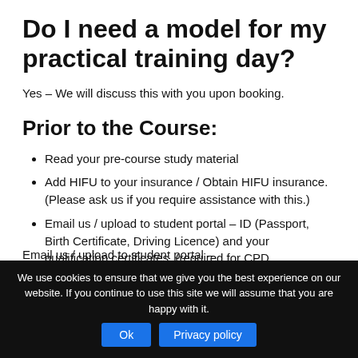Do I need a model for my practical training day?
Yes – We will discuss this with you upon booking.
Prior to the Course:
Read your pre-course study material
Add HIFU to your insurance / Obtain HIFU insurance. (Please ask us if you require assistance with this.)
Email us / upload to student portal – ID (Passport, Birth Certificate, Driving Licence) and your qualification certificates. (required for CPD accreditation.)
We use cookies to ensure that we give you the best experience on our website. If you continue to use this site we will assume that you are happy with it.